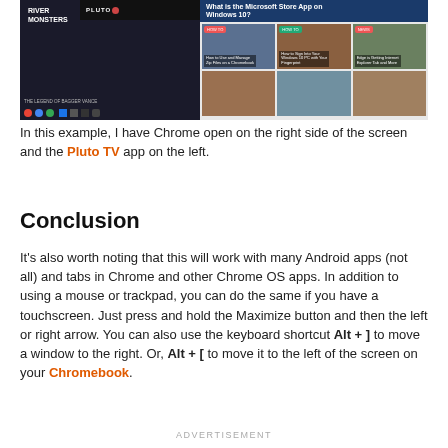[Figure (screenshot): Screenshot showing Chrome browser on the right side with a Microsoft Store App article, and the Pluto TV app on the left side, with a taskbar at the bottom.]
In this example, I have Chrome open on the right side of the screen and the Pluto TV app on the left.
Conclusion
It's also worth noting that this will work with many Android apps (not all) and tabs in Chrome and other Chrome OS apps. In addition to using a mouse or trackpad, you can do the same if you have a touchscreen. Just press and hold the Maximize button and then the left or right arrow. You can also use the keyboard shortcut Alt + ] to move a window to the right. Or, Alt + [ to move it to the left of the screen on your Chromebook.
ADVERTISEMENT